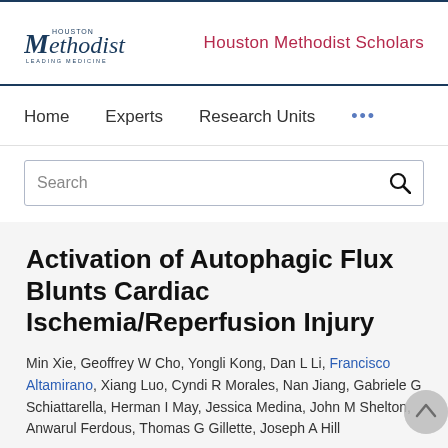Houston Methodist | Houston Methodist Scholars
Home  Experts  Research Units  ...
Search
Activation of Autophagic Flux Blunts Cardiac Ischemia/Reperfusion Injury
Min Xie, Geoffrey W Cho, Yongli Kong, Dan L Li, Francisco Altamirano, Xiang Luo, Cyndi R Morales, Nan Jiang, Gabriele G Schiattarella, Herman I May, Jessica Medina, John M Shelton, Anwarul Ferdous, Thomas G Gillette, Joseph A Hill